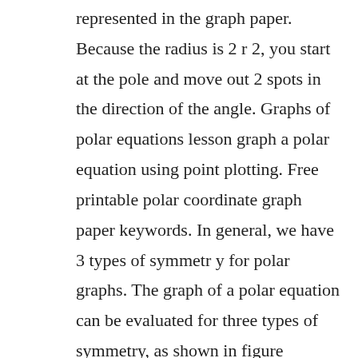represented in the graph paper. Because the radius is 2 r 2, you start at the pole and move out 2 spots in the direction of the angle. Graphs of polar equations lesson graph a polar equation using point plotting. Free printable polar coordinate graph paper keywords. In general, we have 3 types of symmetr y for polar graphs. The graph of a polar equation can be evaluated for three types of symmetry, as shown in figure \pageindex2\. Before plotting the coordinate graph points in a plane then you must be aware with the coordinates x, y. A graph has symmetry with respect to the